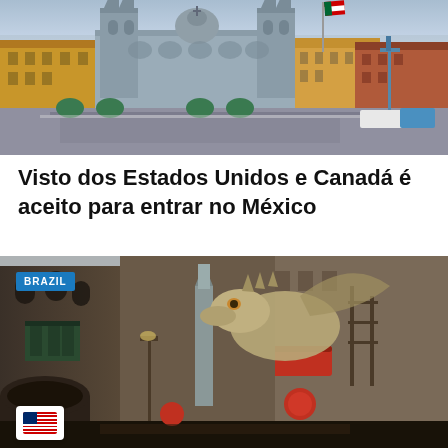[Figure (photo): Aerial view of Mexico City Zocalo plaza with cathedral, colonial buildings, Mexican flag flying, crowds of people in the square]
Visto dos Estados Unidos e Canadá é aceito para entrar no México
[Figure (photo): Diagon Alley-style fantasy street scene with medieval buildings, large dragon sculpture on building, dark atmospheric lighting, labeled BRAZIL with US flag badge]